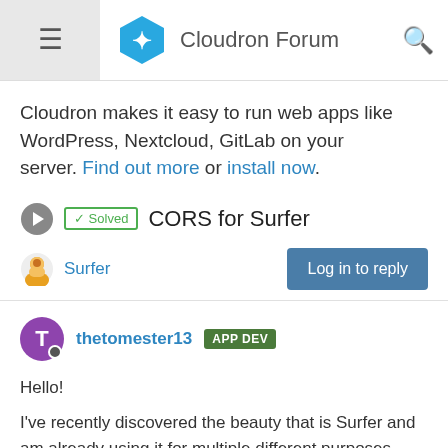Cloudron Forum
Cloudron makes it easy to run web apps like WordPress, Nextcloud, GitLab on your server. Find out more or install now.
✓ Solved  CORS for Surfer
Surfer
Log in to reply
thetomester13  APP DEV
Hello!
I've recently discovered the beauty that is Surfer and am already using it for multiple different purposes.
I've just come across a use case where I need CORS from my Surfer instance. I know the basics of CORS but don't know too